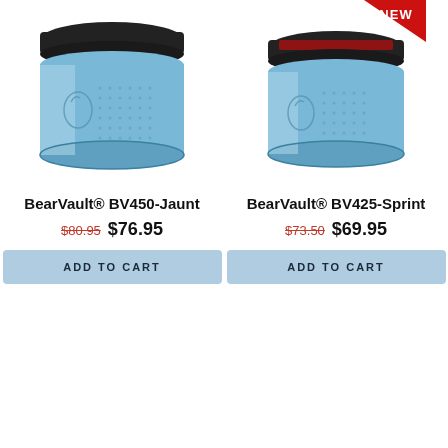[Figure (photo): BearVault BV450-Jaunt bear canister, light blue cylindrical container with black lid]
BearVault® BV450-Jaunt
$80.95 $76.95
ADD TO CART
[Figure (photo): BearVault BV425-Sprint bear canister, light blue cylindrical container with black lid, NEW badge in top right corner]
BearVault® BV425-Sprint
$73.50 $69.95
ADD TO CART